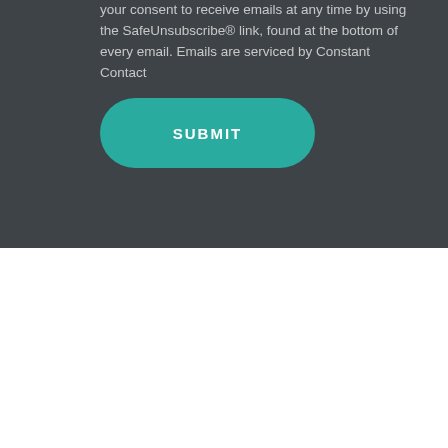your consent to receive emails at any time by using the SafeUnsubscribe® link, found at the bottom of every email. Emails are serviced by Constant Contact
[Figure (other): Teal rounded rectangle SUBMIT button]
HOLLY P. DONALDSON, CFP®
[Figure (photo): Circular profile photo of Holly P. Donaldson with dark hair against a dark olive/gold circular background]